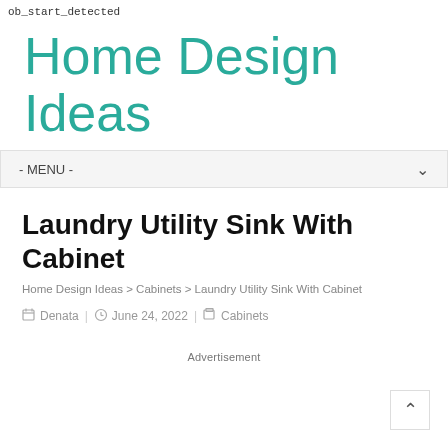ob_start_detected
Home Design Ideas
- MENU -
Laundry Utility Sink With Cabinet
Home Design Ideas > Cabinets > Laundry Utility Sink With Cabinet
Denata | June 24, 2022 | Cabinets
Advertisement